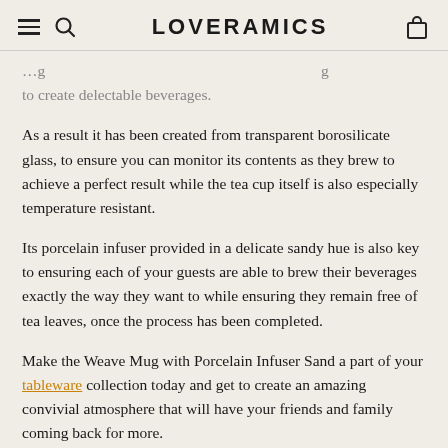LOVERAMICS
to create delectable beverages.
As a result it has been created from transparent borosilicate glass, to ensure you can monitor its contents as they brew to achieve a perfect result while the tea cup itself is also especially temperature resistant.
Its porcelain infuser provided in a delicate sandy hue is also key to ensuring each of your guests are able to brew their beverages exactly the way they want to while ensuring they remain free of tea leaves, once the process has been completed.
Make the Weave Mug with Porcelain Infuser Sand a part of your tableware collection today and get to create an amazing convivial atmosphere that will have your friends and family coming back for more.